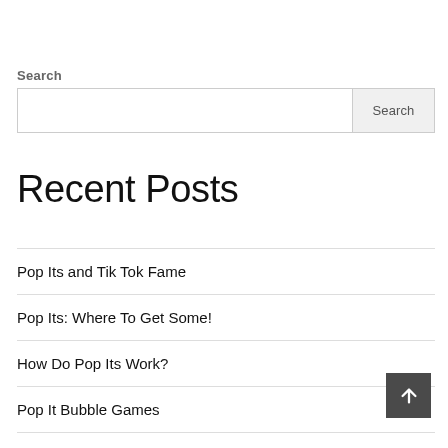Search
[Figure (other): Search input box with Search button]
Recent Posts
Pop Its and Tik Tok Fame
Pop Its: Where To Get Some!
How Do Pop Its Work?
Pop It Bubble Games
Pop Its Sensation- Where Did They Come From?